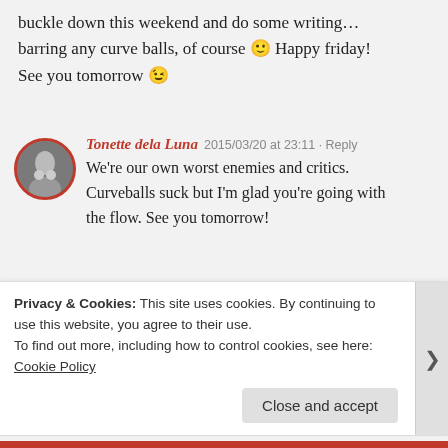buckle down this weekend and do some writing… barring any curve balls, of course 🙂 Happy friday! See you tomorrow 😉
Tonette dela Luna · 2015/03/20 at 23:11 · Reply
We're our own worst enemies and critics. Curveballs suck but I'm glad you're going with the flow. See you tomorrow!
Carol · 2015/03/20 at 19:44 · Reply
I need a quote that said "When life gives you...
Privacy & Cookies: This site uses cookies. By continuing to use this website, you agree to their use.
To find out more, including how to control cookies, see here: Cookie Policy
Close and accept